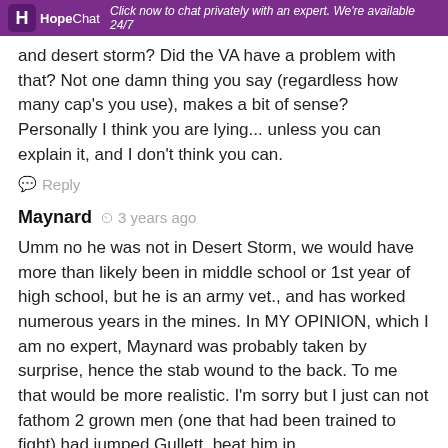HopeChat — Click now to chat privately with an expert. We're available 24/7
and desert storm? Did the VA have a problem with that? Not one damn thing you say (regardless how many cap's you use), makes a bit of sense? Personally I think you are lying... unless you can explain it, and I don't think you can.
Reply
Maynard  3 years ago
Umm no he was not in Desert Storm, we would have more than likely been in middle school or 1st year of high school, but he is an army vet., and has worked numerous years in the mines. In MY OPINION, which I am no expert, Maynard was probably taken by surprise, hence the stab wound to the back. To me that would be more realistic. I'm sorry but I just can not fathom 2 grown men (one that had been trained to fight) had jumped Gullett, beat him in